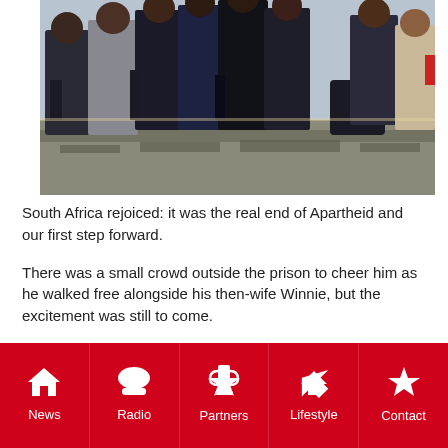[Figure (photo): A crowd of people walking, dressed in business attire, photographed from a low angle with strong sunlight creating shadows on the ground.]
South Africa rejoiced: it was the real end of Apartheid and our first step forward.
There was a small crowd outside the prison to cheer him as he walked free alongside his then-wife Winnie, but the excitement was still to come.
Over 50 000 people gathered at Cape Town's city hall for
News | Radio | Partners | Lifestyle | Contact